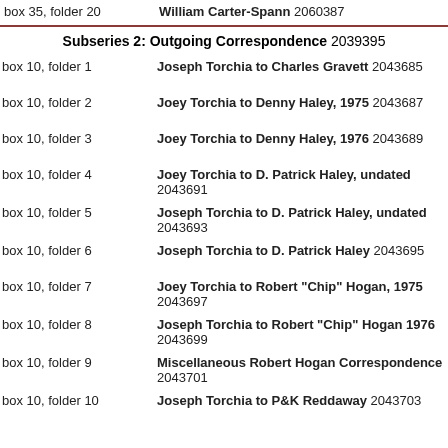box 35, folder 20   William Carter-Spann 2060387
Subseries 2: Outgoing Correspondence 2039395
box 10, folder 1   Joseph Torchia to Charles Gravett 2043685
box 10, folder 2   Joey Torchia to Denny Haley, 1975 2043687
box 10, folder 3   Joey Torchia to Denny Haley, 1976 2043689
box 10, folder 4   Joey Torchia to D. Patrick Haley, undated 2043691
box 10, folder 5   Joseph Torchia to D. Patrick Haley, undated 2043693
box 10, folder 6   Joseph Torchia to D. Patrick Haley 2043695
box 10, folder 7   Joey Torchia to Robert "Chip" Hogan, 1975 2043697
box 10, folder 8   Joseph Torchia to Robert "Chip" Hogan 1976 2043699
box 10, folder 9   Miscellaneous Robert Hogan Correspondence 2043701
box 10, folder 10   Joseph Torchia to P&K Reddaway 2043703